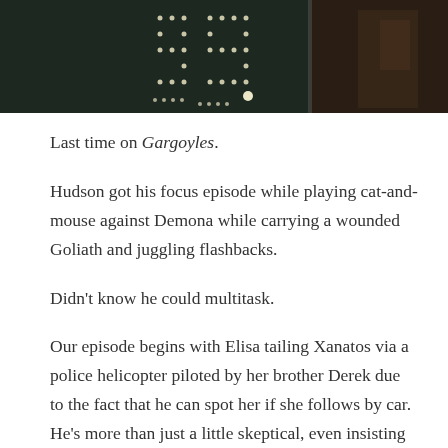[Figure (screenshot): Dark screenshot from the animated TV show Gargoyles showing glowing dot-light patterns against a dark background, with two side-by-side frames.]
Last time on Gargoyles.
Hudson got his focus episode while playing cat-and-mouse against Demona while carrying a wounded Goliath and juggling flashbacks.
Didn’t know he could multitask.
Our episode begins with Elisa tailing Xanatos via a police helicopter piloted by her brother Derek due to the fact that he can spot her if she follows by car.  He’s more than just a little skeptical, even insisting that he’s done his jail time fairly and Elisa’s pursuit of him is turning into an obsession.  Unfortunately for her,